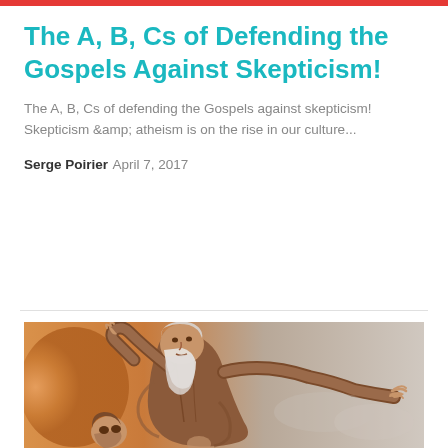The A, B, Cs of Defending the Gospels Against Skepticism!
The A, B, Cs of defending the Gospels against skepticism! Skepticism &amp; atheism is on the rise in our culture...
Serge Poirier
April 7, 2017
[Figure (illustration): Classical painting or fresco showing an elderly bearded man (resembling Michelangelo's depiction of God) pointing outward with outstretched arm, with other figures below.]